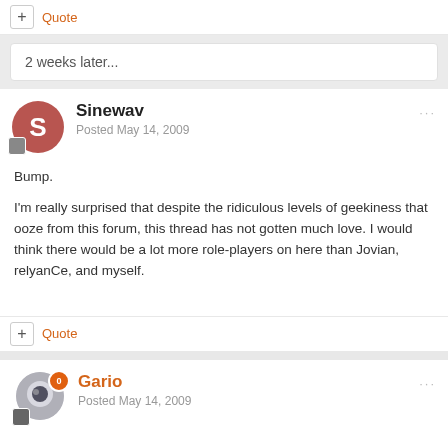+ Quote
2 weeks later...
Sinewav
Posted May 14, 2009
Bump.

I'm really surprised that despite the ridiculous levels of geekiness that ooze from this forum, this thread has not gotten much love. I would think there would be a lot more role-players on here than Jovian, relyanCe, and myself.
+ Quote
Gario
Posted May 14, 2009